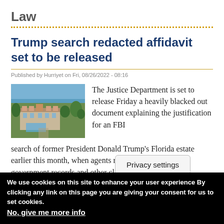Law
Trump search redacted affidavit set to be released
Published by Hurriyet on Fri, 08/26/2022 - 08:16
[Figure (photo): Aerial photograph of Mar-a-Lago estate in Florida, showing buildings, trees, and ocean in background]
The Justice Department is set to release Friday a heavily blacked out document explaining the justification for an FBI search of former President Donald Trump's Florida estate earlier this month, when agents removed top secret government records and other classified documents.
Privacy settings
Read more   Log in
We use cookies on this site to enhance your user experience By clicking any link on this page you are giving your consent for us to set cookies. No, give me more info